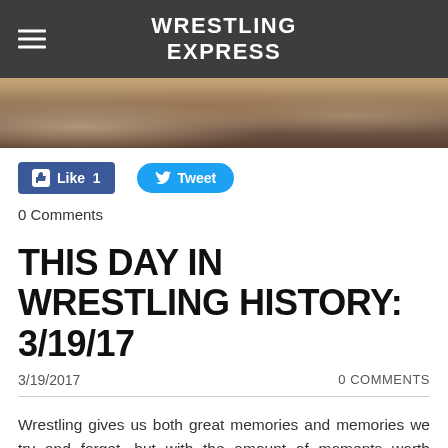WRESTLING EXPRESS
[Figure (photo): Cropped wrestling photo showing wrestlers on the mat]
Like 1   Tweet
0 Comments
THIS DAY IN WRESTLING HISTORY: 3/19/17
3/19/2017   0 COMMENTS
Wrestling gives us both great memories and memories we try and forget, but with the amount of moments worth remembering that have happened we are bound to forget some. The same could be said about some talent that were